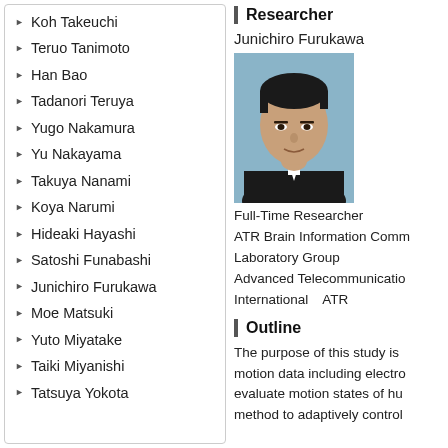Koh Takeuchi
Teruo Tanimoto
Han Bao
Tadanori Teruya
Yugo Nakamura
Yu Nakayama
Takuya Nanami
Koya Narumi
Hideaki Hayashi
Satoshi Funabashi
Junichiro Furukawa
Moe Matsuki
Yuto Miyatake
Taiki Miyanishi
Tatsuya Yokota
Researcher
Junichiro Furukawa
[Figure (photo): Headshot photo of Junichiro Furukawa, a man in a dark suit against a light blue background]
Full-Time Researcher
ATR Brain Information Comm
Laboratory Group
Advanced Telecommunicatio
International　ATR
Outline
The purpose of this study is
motion data including electro
evaluate motion states of hu
method to adaptively control